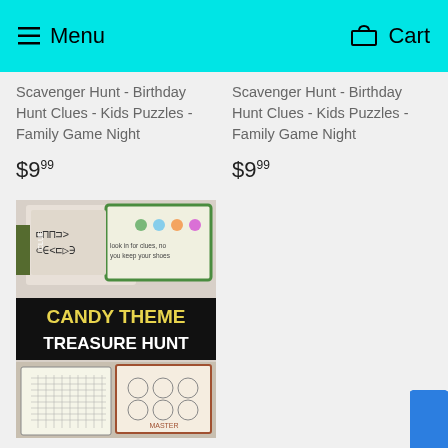Menu  Cart
Scavenger Hunt - Birthday Hunt Clues - Kids Puzzles - Family Game Night
$9.99
Scavenger Hunt - Birthday Hunt Clues - Kids Puzzles - Family Game Night
$9.99
[Figure (photo): Candy Theme Treasure Hunt product image showing game cards and puzzle sheets with bold text 'CANDY THEME TREASURE HUNT']
Candy Theme Treasure